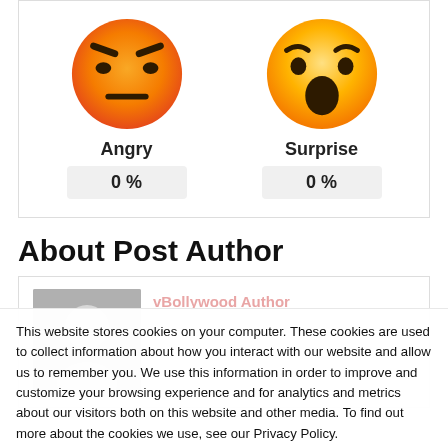[Figure (infographic): Two emoji reaction icons side by side: Angry face (orange/yellow gradient with angry eyebrows and frown) labeled 'Angry' with '0 %' below, and Surprise face (yellow/orange with wide open mouth and shocked expression) labeled 'Surprise' with '0 %' below. Both shown inside a card with light border.]
About Post Author
[Figure (photo): Gray placeholder avatar image showing a silhouette of a person with a circular head shape, typical default user profile photo placeholder.]
vBollywood Author
This website stores cookies on your computer. These cookies are used to collect information about how you interact with our website and allow us to remember you. We use this information in order to improve and customize your browsing experience and for analytics and metrics about our visitors both on this website and other media. To find out more about the cookies we use, see our Privacy Policy.